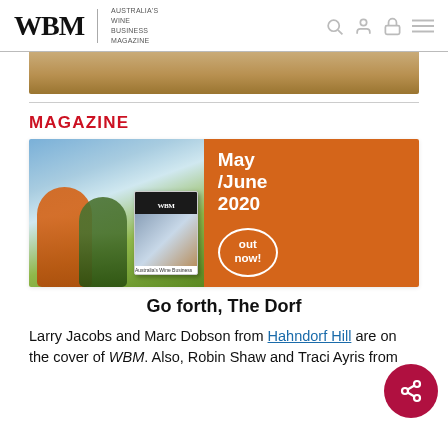WBM — Australia's Wine Business Magazine
[Figure (photo): Close-up photo of food (crumble/grain texture), cropped at top of page]
MAGAZINE
[Figure (photo): WBM May/June 2020 magazine cover advertisement. Left side shows two people outdoors in vineyard setting; right side is orange with text 'May/June 2020 out now!' and WBM magazine cover inset.]
Go forth, The Dorf
Larry Jacobs and Marc Dobson from Hahndorf Hill are on the cover of WBM. Also, Robin Shaw and Traci Ayris from